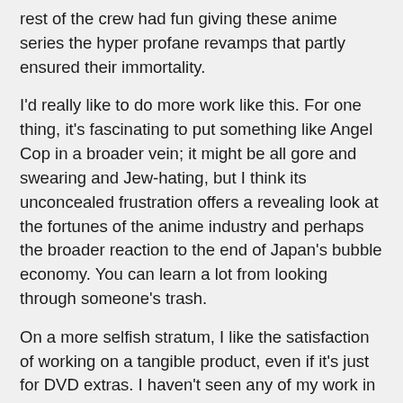rest of the crew had fun giving these anime series the hyper profane revamps that partly ensured their immortality.
I'd really like to do more work like this. For one thing, it's fascinating to put something like Angel Cop in a broader vein; it might be all gore and swearing and Jew-hating, but I think its unconcealed frustration offers a revealing look at the fortunes of the anime industry and perhaps the broader reaction to the end of Japan's bubble economy. You can learn a lot from looking through someone's trash.
On a more selfish stratum, I like the satisfaction of working on a tangible product, even if it's just for DVD extras. I haven't seen any of my work in physical media since my magazine gig a decade ago, and while I sure appreciate the malleable, correctable nature of online writing, there's a nice sense of permanence about holding something that involved you. Centuries after the Internet has evaporated and the earth is a lifeless husk, alien excavators may siphon my essay from a miraculously intact Blu-Ray and know just a little more about Angel Cop.